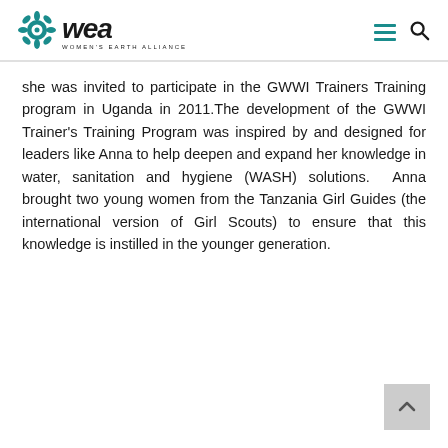WEA — Women's Earth Alliance
she was invited to participate in the GWWI Trainers Training program in Uganda in 2011. The development of the GWWI Trainer's Training Program was inspired by and designed for leaders like Anna to help deepen and expand her knowledge in water, sanitation and hygiene (WASH) solutions. Anna brought two young women from the Tanzania Girl Guides (the international version of Girl Scouts) to ensure that this knowledge is instilled in the younger generation.